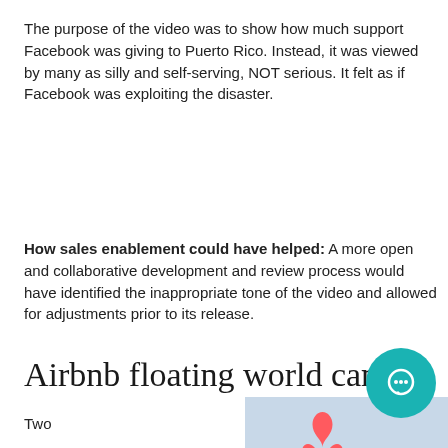The purpose of the video was to show how much support Facebook was giving to Puerto Rico. Instead, it was viewed by many as silly and self-serving, NOT serious. It felt as if Facebook was exploiting the disaster.
How sales enablement could have helped: A more open and collaborative development and review process would have identified the inappropriate tone of the video and allowed for adjustments prior to its release.
Airbnb floating world campaign
Two